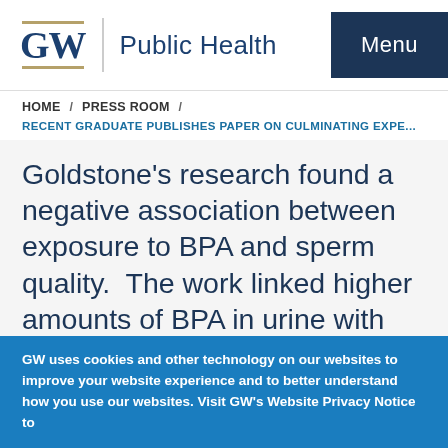GW Public Health | Menu
HOME / PRESS ROOM /
RECENT GRADUATE PUBLISHES PAPER ON CULMINATING EXPE...
Goldstone’s research found a negative association between exposure to BPA and sperm quality.  The work linked higher amounts of BPA in urine with lower levels of sperm DNA damage
GW uses cookies and other technology on our websites to improve your website experience and to better understand how you use our websites. Visit GW’s Website Privacy Notice to